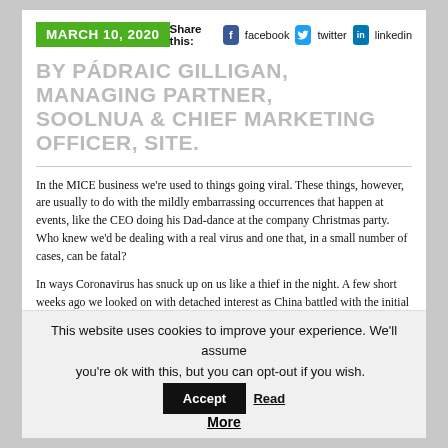MARCH 10, 2020
Share this: facebook twitter linkedin
BY PÁDRAIC GILLIGAN, MANAGING PARTNER, SOOLNUA & CHIEF MARKETING OFFICER, SITE.
In the MICE business we're used to things going viral. These things, however, are usually to do with the mildly embarrassing occurrences that happen at events, like the CEO doing his Dad-dance at the company Christmas party. Who knew we'd be dealing with a real virus and one that, in a small number of cases, can be fatal?
In ways Coronavirus has snuck up on us like a thief in the night. A few short weeks ago we looked on with detached interest as China battled with the initial outbreak in one of its provinces. Now, almost out of nowhere, we're looking at an entire EUR country in lockdown and, closer to home here in Ireland, we're cancelling our St Patrick's Day public celebrations, the traditional kick-off of our crucially important tourism season.
This website uses cookies to improve your experience. We'll assume you're ok with this, but you can opt-out if you wish. Accept Read More